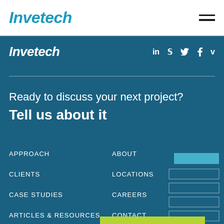Invetech
Invetech
in   𝕏   f   v
Ready to discuss your next project? Tell us about it
APPROACH
ABOUT
CLIENTS
LOCATIONS
CASE STUDIES
CAREERS
ARTICLES & RESOURCES
CONTACT